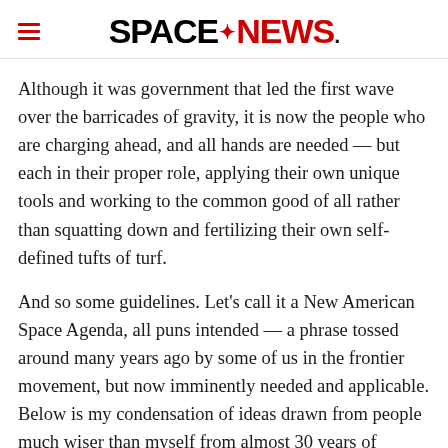SPACENEWS
Although it was government that led the first wave over the barricades of gravity, it is now the people who are charging ahead, and all hands are needed — but each in their proper role, applying their own unique tools and working to the common good of all rather than squatting down and fertilizing their own self-defined tufts of turf.
And so some guidelines. Let's call it a New American Space Agenda, all puns intended — a phrase tossed around many years ago by some of us in the frontier movement, but now imminently needed and applicable. Below is my condensation of ideas drawn from people much wiser than myself from almost 30 years of engaging in this revolution, where I have seen firsthand